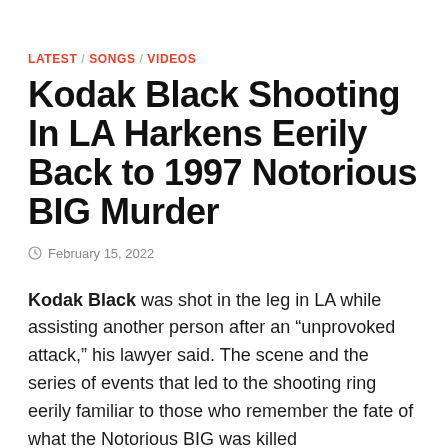LATEST / SONGS / VIDEOS
Kodak Black Shooting In LA Harkens Eerily Back to 1997 Notorious BIG Murder
February 15, 2022
Kodak Black was shot in the leg in LA while assisting another person after an “unprovoked attack,” his lawyer said. The scene and the series of events that led to the shooting ring eerily familiar to those who remember the fate of what the Notorious BIG was killed...